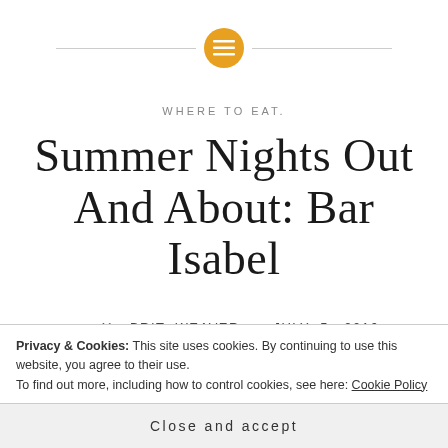WHERE TO EAT.
Summer Nights Out And About: Bar Isabel
Posted by BRIT WEAVER on JULY 5, 2016
It's been a while since our last post and a thousand apologies to any friends and family who are
Privacy & Cookies: This site uses cookies. By continuing to use this website, you agree to their use.
To find out more, including how to control cookies, see here: Cookie Policy
Close and accept